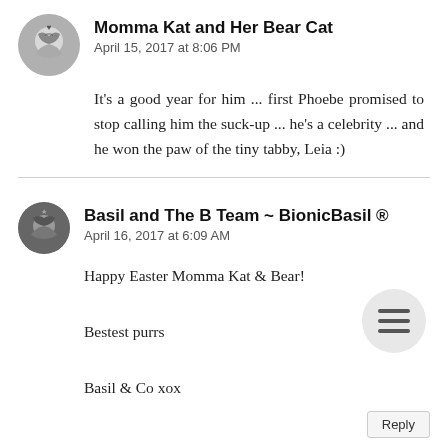[Figure (photo): Avatar for Momma Kat and Her Bear Cat, circular profile image with heart and cats]
Momma Kat and Her Bear Cat
April 15, 2017 at 8:06 PM
It's a good year for him ... first Phoebe promised to stop calling him the suck-up ... he's a celebrity ... and he won the paw of the tiny tabby, Leia :)
[Figure (photo): Avatar for Basil and The B Team ~ BionicBasil, circular profile image with cats]
Basil and The B Team ~ BionicBasil ®
April 16, 2017 at 6:09 AM
Happy Easter Momma Kat & Bear!

Bestest purrs

Basil & Co xox